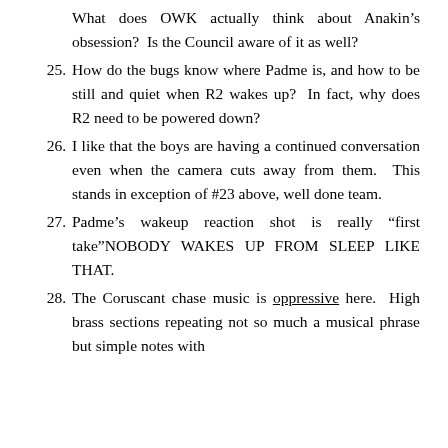What does OWK actually think about Anakin’s obsession?  Is the Council aware of it as well?
25. How do the bugs know where Padme is, and how to be still and quiet when R2 wakes up?  In fact, why does R2 need to be powered down?
26. I like that the boys are having a continued conversation even when the camera cuts away from them.  This stands in exception of #23 above, well done team.
27. Padme’s wakeup reaction shot is really “first take”NOBODY WAKES UP FROM SLEEP LIKE THAT.
28. The Coruscant chase music is oppressive here.  High brass sections repeating not so much a musical phrase but simple notes with